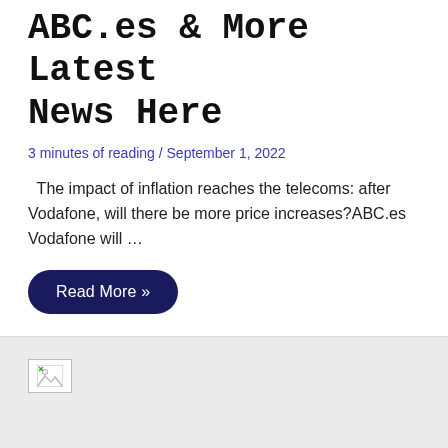ABC.es & More Latest News Here
3 minutes of reading / September 1, 2022
The impact of inflation reaches the telecoms: after Vodafone, will there be more price increases?ABC.es Vodafone will …
Read More »
[Figure (other): Broken image placeholder icon at top-left of grey section]
[Figure (other): Scroll-to-top button (dark navy square with upward chevron) at bottom-right]